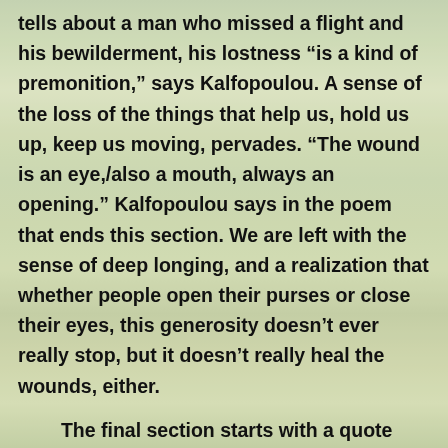tells about a man who missed a flight and his bewilderment, his lostness “is a kind of premonition,” says Kalfopoulou. A sense of the loss of the things that help us, hold us up, keep us moving, pervades. “The wound is an eye,/also a mouth, always an opening.” Kalfopoulou says in the poem that ends this section. We are left with the sense of deep longing, and a realization that whether people open their purses or close their eyes, this generosity doesn’t ever really stop, but it doesn’t really heal the wounds, either.
The final section starts with a quote from Monica Sok’s “Nocturne:” World/throw it off then! Throw it!/It doesn’t matter what covers you when the sky sleeps./In the light you are a dangerous place.” The opening